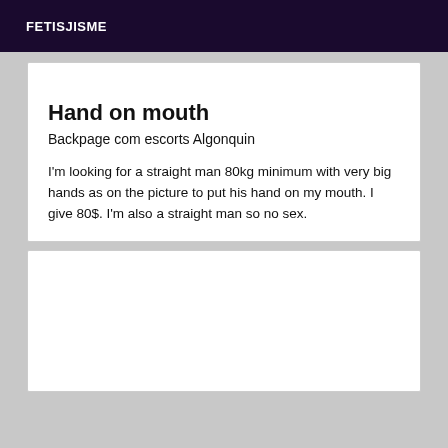FETISJISME
Hand on mouth
Backpage com escorts Algonquin
I'm looking for a straight man 80kg minimum with very big hands as on the picture to put his hand on my mouth. I give 80$. I'm also a straight man so no sex.